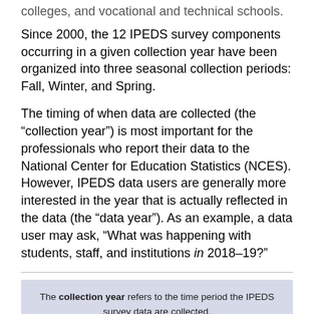colleges, and vocational and technical schools.
Since 2000, the 12 IPEDS survey components occurring in a given collection year have been organized into three seasonal collection periods: Fall, Winter, and Spring.
The timing of when data are collected (the “collection year”) is most important for the professionals who report their data to the National Center for Education Statistics (NCES). However, IPEDS data users are generally more interested in the year that is actually reflected in the data (the “data year”). As an example, a data user may ask, “What was happening with students, staff, and institutions in 2018–19?”
The collection year refers to the time period the IPEDS survey data are collected.
The data year refers to the time period reflected in the IPEDS survey data.
For data users, knowing the difference between the collection year and the data year is important for working with and understanding IPEDS data. Often